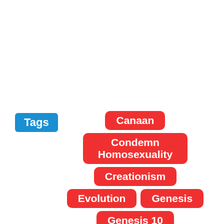Tags
Canaan
Condemn Homosexuality
Creationism
Evolution
Genesis
Genesis 10
Genesis 10:7
Genesis 9
Homosexuality